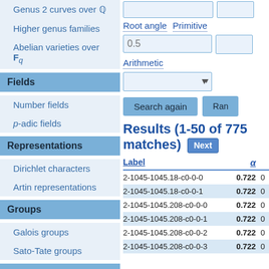Genus 2 curves over Q
Higher genus families
Abelian varieties over F_q
Fields
Number fields
p-adic fields
Representations
Dirichlet characters
Artin representations
Groups
Galois groups
Sato-Tate groups
Database
Root angle
Primitive
Arithmetic
Search again
Results (1-50 of 775 matches)
| Label | α |
| --- | --- |
| 2-1045-1045.18-c0-0-0 | 0.722 | 0 |
| 2-1045-1045.18-c0-0-1 | 0.722 | 0 |
| 2-1045-1045.208-c0-0-0 | 0.722 | 0 |
| 2-1045-1045.208-c0-0-1 | 0.722 | 0 |
| 2-1045-1045.208-c0-0-2 | 0.722 | 0 |
| 2-1045-1045.208-c0-0-3 | 0.722 | 0 |